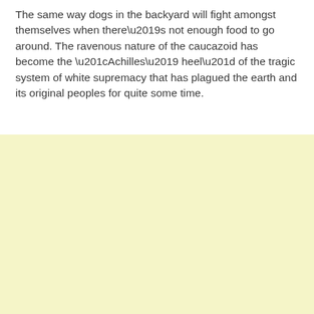The same way dogs in the backyard will fight amongst themselves when there's not enough food to go around. The ravenous nature of the caucazoid has become the “Achilles’ heel” of the tragic system of white supremacy that has plagued the earth and its original peoples for quite some time.